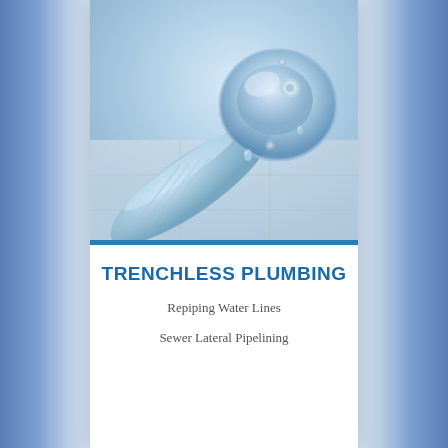[Figure (photo): Close-up photo of a chrome shower/bath faucet handle with water droplets, mounted on white tile, blue-tinted lighting]
TRENCHLESS PLUMBING
Repiping Water Lines
Sewer Lateral Pipelining